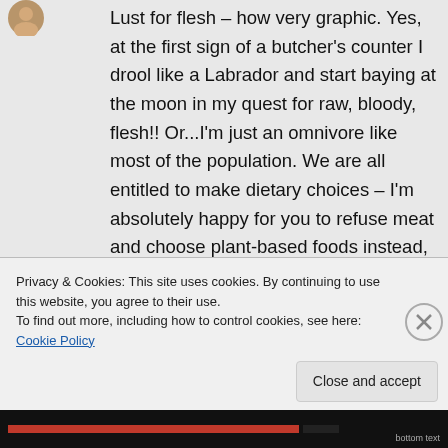Lust for flesh – how very graphic. Yes, at the first sign of a butcher's counter I drool like a Labrador and start baying at the moon in my quest for raw, bloody, flesh!! Or...I'm just an omnivore like most of the population. We are all entitled to make dietary choices – I'm absolutely happy for you to refuse meat and choose plant-based foods instead, why can't you extend the same courtesy? Are you going to suggest
Privacy & Cookies: This site uses cookies. By continuing to use this website, you agree to their use.
To find out more, including how to control cookies, see here: Cookie Policy
Close and accept